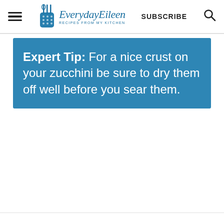Everyday Eileen – Recipes from my kitchen | SUBSCRIBE
Expert Tip: For a nice crust on your zucchini be sure to dry them off well before you sear them.